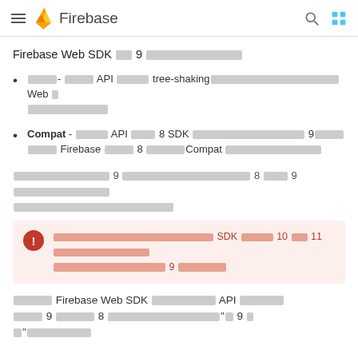Firebase
Firebase Web SDK 의 9 업그레이드 안내
모듈식- 함수형 API 모듈방식은 tree-shaking으로 번들 크기를 최소화하는 Web 앱 에 최적화되어 있습니다.
Compat - 이전의 API 표면을 8 SDK 와동일하게 유지하고 9버전과 함께 Firebase 버전을 8 이상에서Compat 라이브러리를 사용합니다.
업그레이드하려면 9 에서 통합하려면 에서 8 스타일로 9 에서 업그레이드 방법을 참고하여 업그레이드를 시작합니다.
경고: 자바스크립트 SDK 버전에서 10 및 11과 9버전은 더이상 지원되지 않습니다. 최신 9 버전을 사용하세요.
Firebase Web SDK 로 사용 가능한 API 마이그레이션 버전 9 에서 마이그레이션 8 이전에서 마이그레이션할 수 있는"에 9 가 지원"으로 이전합니다.